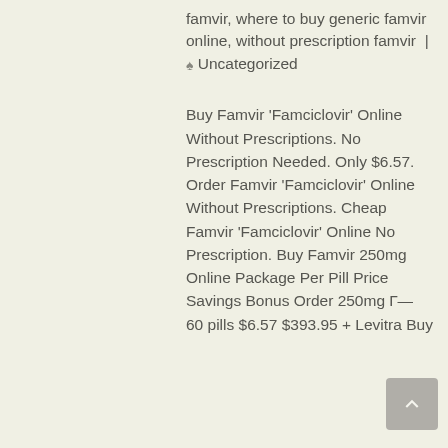famvir, where to buy generic famvir online, without prescription famvir | Uncategorized
Buy Famvir 'Famciclovir' Online Without Prescriptions. No Prescription Needed. Only $6.57. Order Famvir 'Famciclovir' Online Without Prescriptions. Cheap Famvir 'Famciclovir' Online No Prescription. Buy Famvir 250mg Online Package Per Pill Price Savings Bonus Order 250mg Г— 60 pills $6.57 $393.95 + Levitra Buy